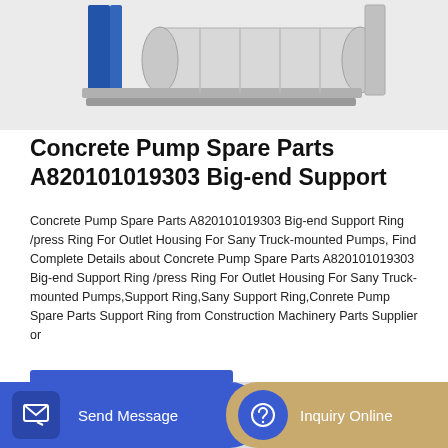[Figure (photo): Concrete pump spare part product photo showing a cylindrical roller/drum component in white/gray against a white background]
Concrete Pump Spare Parts A820101019303 Big-end Support
Concrete Pump Spare Parts A820101019303 Big-end Support Ring /press Ring For Outlet Housing For Sany Truck-mounted Pumps, Find Complete Details about Concrete Pump Spare Parts A820101019303 Big-end Support Ring /press Ring For Outlet Housing For Sany Truck-mounted Pumps,Support Ring,Sany Support Ring,Conrete Pump Spare Parts Support Ring from Construction Machinery Parts Supplier or
[Figure (screenshot): GET A QUOTE blue button]
[Figure (photo): Partial product or warehouse photo at the bottom of the page]
[Figure (screenshot): Bottom navigation bar with Send Message button (blue) on the left and Inquiry Online button (tan/gold) on the right]